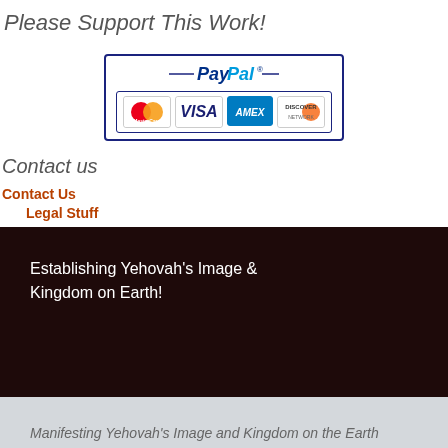Please Support This Work!
[Figure (logo): PayPal payment button with MasterCard, VISA, AMEX, and Discover card logos inside a blue-bordered box]
Contact us
Contact Us
Legal Stuff
Establishing Yehovah's Image & Kingdom on Earth!
Manifesting Yehovah's Image and Kingdom on the Earth